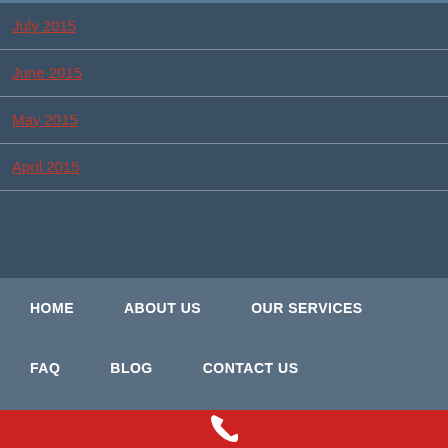July 2015
June 2015
May 2015
April 2015
HOME   ABOUT US   OUR SERVICES   FAQ   BLOG   CONTACT US